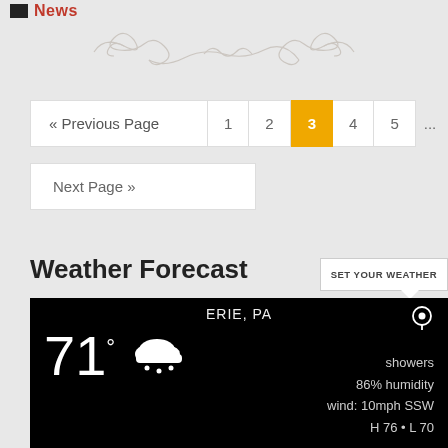News
[Figure (illustration): Decorative scrollwork / ornamental divider in light gray]
« Previous Page  1  2  3  4  5  ...  69
Next Page »
Weather Forecast
[Figure (infographic): Weather widget showing ERIE, PA: 71° with showers cloud icon, 86% humidity, wind: 10mph SSW, H 76 • L 70]